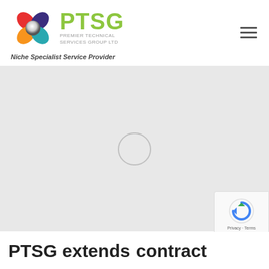[Figure (logo): PTSG Premier Technical Services Group Ltd logo with flower/star graphic and tagline 'Niche Specialist Service Provider']
[Figure (photo): Large gray placeholder image area with a circular loading spinner outline in the center]
[Figure (other): reCAPTCHA badge overlay in bottom right corner with blue/green arrow icon and Privacy/Terms links]
PTSG extends contract